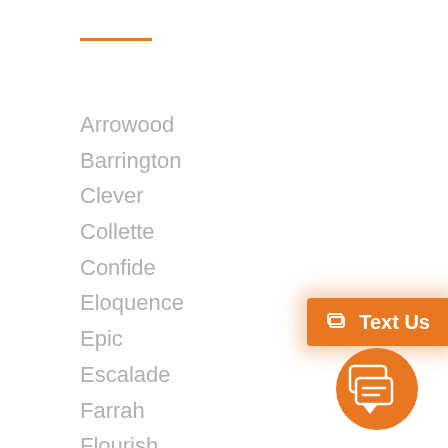Arrowood
Barrington
Clever
Collette
Confide
Eloquence
Epic
Escalade
Farrah
Flourish
Fold
Footings
Fringe
Maneuver